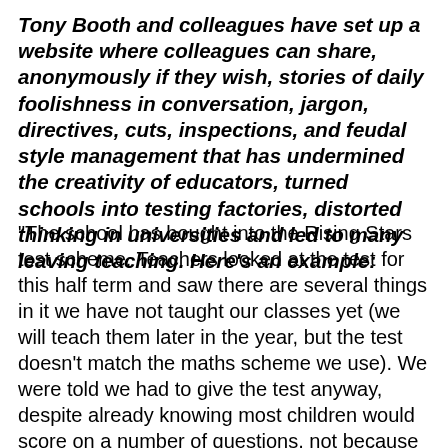Tony Booth and colleagues have set up a website where colleagues can share, anonymously if they wish, stories of daily foolishness in conversation, jargon, directives, cuts, inspections, and feudal style management that has undermined the creativity of educators, turned schools into testing factories, distorted thinking in universities and led to many leaving teaching. Here's an example:
"The school has bought into the Rising Stars test scheme. Teachers looked at the test for this half term and saw there are several things in it we have not taught our classes yet (we will teach them later in the year, but the test doesn't match the maths scheme we use). We were told we had to give the test anyway, despite already knowing most children would score 0 on a number of questions, not because they were incapable of answering them, but because they had been taught other things which did not appear in the test. Children we know are not working at, say a Year 4 level, but are in Year 4 have had to sit the Year 4...